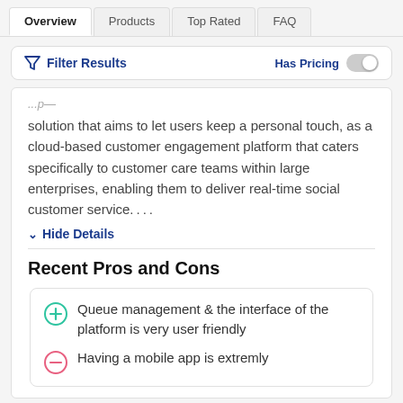Overview | Products | Top Rated | FAQ
Filter Results  Has Pricing
solution that aims to let users keep a personal touch, as a cloud-based customer engagement platform that caters specifically to customer care teams within large enterprises, enabling them to deliver real-time social customer service....
Hide Details
Recent Pros and Cons
Queue management & the interface of the platform is very user friendly
Having a mobile app is extremly